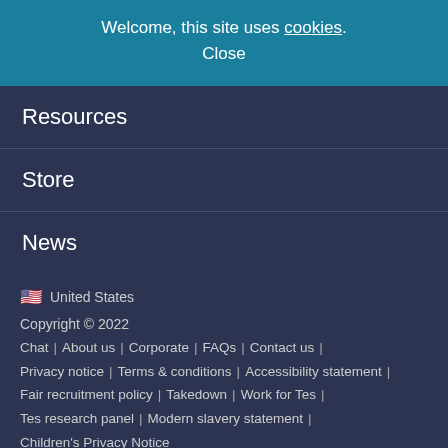Welcome, this site uses cookies. Close
Resources
Store
News
🇺🇸 United States
Copyright © 2022 | Chat | About us | Corporate | FAQs | Contact us | Privacy notice | Terms & conditions | Accessibility statement | Fair recruitment policy | Takedown | Work for Tes | Tes research panel | Modern slavery statement | Children's Privacy Notice